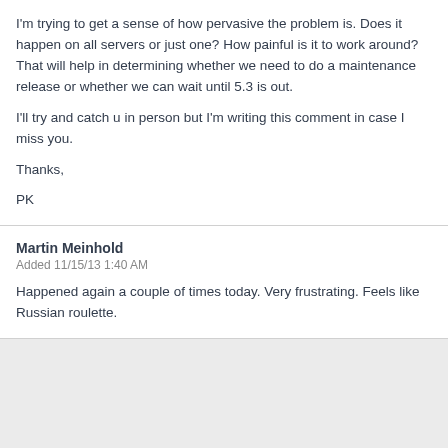I'm trying to get a sense of how pervasive the problem is. Does it happen on all servers or just one? How painful is it to work around? That will help in determining whether we need to do a maintenance release or whether we can wait until 5.3 is out.
I'll try and catch u in person but I'm writing this comment in case I miss you.
Thanks,
PK
Martin Meinhold
Added 11/15/13 1:40 AM
Happened again a couple of times today. Very frustrating. Feels like Russian roulette.